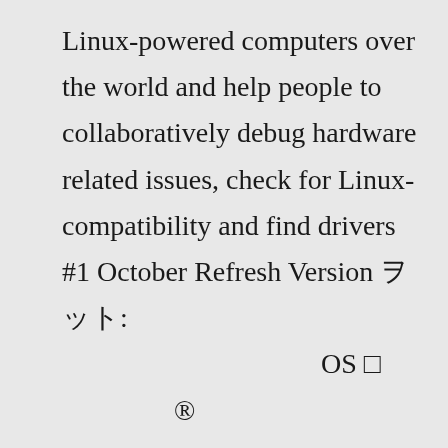Linux-powered computers over the world and help people to collaboratively debug hardware related issues, check for Linux-compatibility and find drivers #1 October Refresh Version 00: 000000000000000000 OS 0 0000® 00000000000 000000000000000000000 27 For driver configuration details, see the Read Me file in Download Center TUF Gaming motherboards are built to survive and thrive on every … <strong>We're sorry